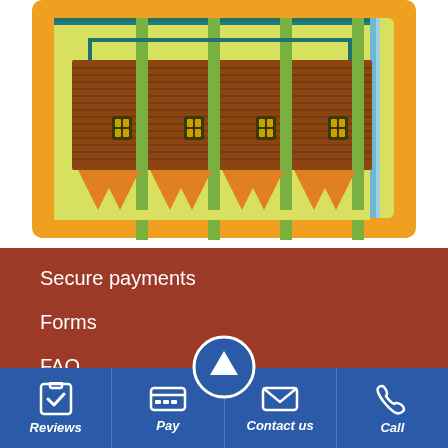[Figure (illustration): Schematic/illustration of a circuit or chip component with orange background, teal and blue wiring lines, brown layered rectangular component, orange triangular heat-sink fins, and yellow-green border framing. Four green vertical connectors span the component.]
Secure payments
Forms
FAQ
[Figure (infographic): Bottom navigation bar with four items: Reviews (clipboard with checkmark icon), Pay (credit card icon), Contact us (envelope icon), Call (phone icon). Blue background with white icons and italic bold white labels.]